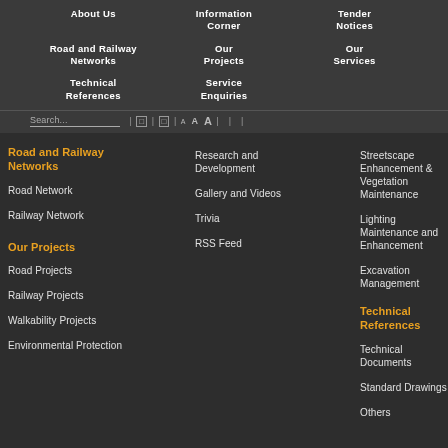About Us | Information Corner | Tender Notices | Road and Railway Networks | Our Projects | Our Services | Technical References | Service Enquiries
Search...  | □ | □ | A A A | | |
Road and Railway Networks
Road Network
Railway Network
Our Projects
Road Projects
Railway Projects
Walkability Projects
Environmental Protection
Research and Development
Gallery and Videos
Trivia
RSS Feed
Streetscape Enhancement & Vegetation Maintenance
Lighting Maintenance and Enhancement
Excavation Management
Technical References
Technical Documents
Standard Drawings
Others